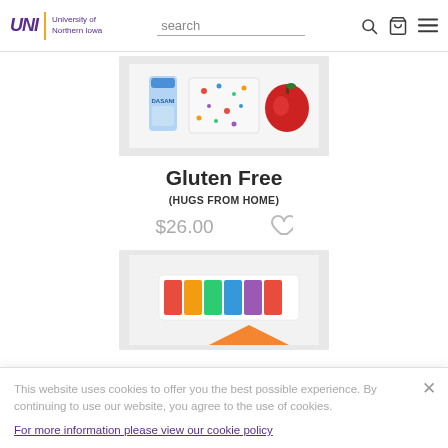UNI University of Northern Iowa — search bar, cart icon, menu icon
[Figure (photo): Product photo showing Dasani water bottle, colorful polka dot box, and red apple on white background]
Gluten Free
(HUGS FROM HOME)
$26.00
[Figure (photo): Partial product photo showing colorful items including what appears to be crayons or candy on white/grey background]
This website uses cookies to offer you the best possible experience. By continuing to use our website, you agree to the use of cookies.
For more information please view our cookie policy